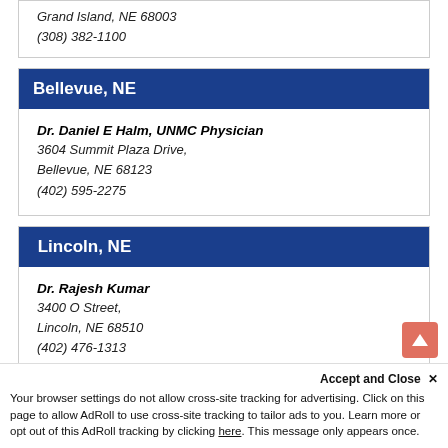Grand Island, NE 68003
(308) 382-1100
Bellevue, NE
Dr. Daniel E Halm, UNMC Physician
3604 Summit Plaza Drive,
Bellevue, NE 68123
(402) 595-2275
Lincoln, NE
Dr. Rajesh Kumar
3400 O Street,
Lincoln, NE 68510
(402) 476-1313
Dr. Matthias I. Okoye, VA Medical Cente
600 South 70th Street, Building 6,
Lincoln, NE 68510
Dr. Shannon James Nauright, Concentra Medical Cente
Your browser settings do not allow cross-site tracking for advertising. Click on this page to allow AdRoll to use cross-site tracking to tailor ads to you. Learn more or opt out of this AdRoll tracking by clicking here. This message only appears once.